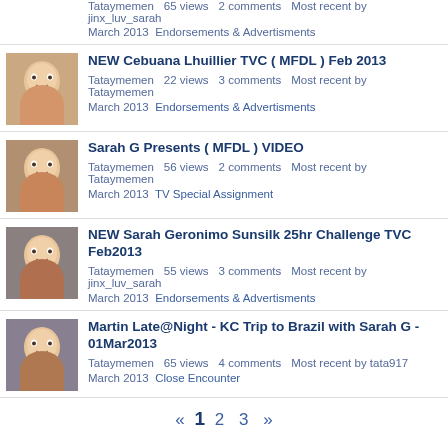Tataymemen   65 views   2 comments   Most recent by jinx_luv_sarah
March 2013   Endorsements & Advertisments
NEW Cebuana Lhuillier TVC ( MFDL ) Feb 2013 — Tataymemen 22 views 3 comments Most recent by Tataymemen — March 2013 Endorsements & Advertisments
Sarah G Presents ( MFDL ) VIDEO — Tataymemen 56 views 2 comments Most recent by Tataymemen — March 2013 TV Special Assignment
NEW Sarah Geronimo Sunsilk 25hr Challenge TVC Feb2013 — Tataymemen 55 views 3 comments Most recent by jinx_luv_sarah — March 2013 Endorsements & Advertisments
Martin Late@Night - KC Trip to Brazil with Sarah G - 01Mar2013 — Tataymemen 65 views 4 comments Most recent by tata917 — March 2013 Close Encounter
« 1 2 3 »